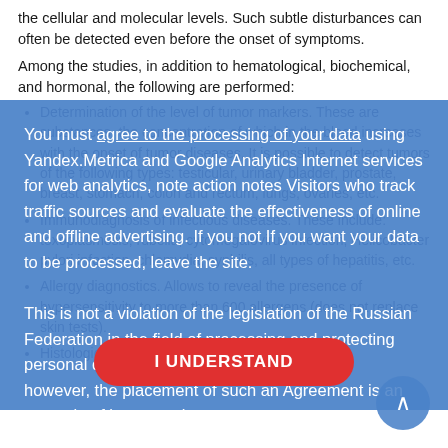the cellular and molecular levels. Such subtle disturbances can often be detected even before the onset of symptoms.
Among the studies, in addition to hematological, biochemical, and hormonal, the following are performed:
Determination of the level of tumor markers. These are substances, the concentration of which in the blood increases with the onset of tumor diseases. It is possible to detect tumors of the following types: testicular, urinary bladder, prostate, breast, stomach, colon and rectum, lungs, ovaries, etc.
Immunodiagnosis of infectious diseases. These include: toxoplasmosis, rubella, cytomegalovirus infection, Helicobacter pylori infection, chlamydia, syphilis, all types of hepatitis, etc.
Allergy diagnostics. Allows to reveal the presence of hypersensitivity to more than 600 allergens (does not replace skin tests).
Histological (pathomorphological). Study o...
You must agree to the processing of your data using Yandex.Metrica and Google Analytics Internet services for web analytics, note action notes Visitors who track traffic sources and evaluate the effectiveness of online and offline advertising. If you not If you want your data to be processed, leave the site.
This is not a violation of the legislation of the Russian Federation in the field of processing and protecting personal data, however, the placement of such an Agreement is an example of best practice.
I UNDERSTAND